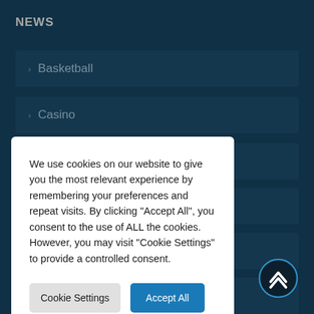NEWS
› Basketball
› Casino
We use cookies on our website to give you the most relevant experience by remembering your preferences and repeat visits. By clicking "Accept All", you consent to the use of ALL the cookies. However, you may visit "Cookie Settings" to provide a controlled consent.
› Formula 1